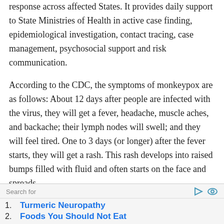response across affected States. It provides daily support to State Ministries of Health in active case finding, epidemiological investigation, contact tracing, case management, psychosocial support and risk communication.
According to the CDC, the symptoms of monkeypox are as follows: About 12 days after people are infected with the virus, they will get a fever, headache, muscle aches, and backache; their lymph nodes will swell; and they will feel tired. One to 3 days (or longer) after the fever starts, they will get a rash. This rash develops into raised bumps filled with fluid and often starts on the face and spreads,
Search for
1. Turmeric Neuropathy
2. Foods You Should Not Eat